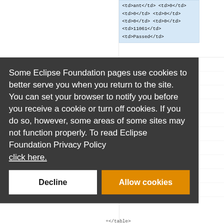[Figure (screenshot): Background webpage content showing HTML code snippet in a blue-highlighted box in the upper right, with table grid lines visible]
Some Eclipse Foundation pages use cookies to better serve you when you return to the site. You can set your browser to notify you before you receive a cookie or turn off cookies. If you do so, however, some areas of some sites may not function properly. To read Eclipse Foundation Privacy Policy click here.
Decline
Allow cookies